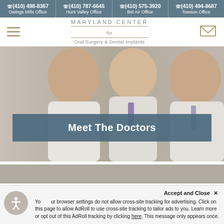(410) 498-8367 Owings Mills Office | (410) 787-6645 Hunt Valley Office | (410) 575-3920 Bel Air Office | (410) 494-8687 Towson Office
MARYLAND CENTER for Oral Surgery & Dental Implants
[Figure (photo): Three male doctors in white lab coats smiling, with a blue-gray banner overlay reading 'Meet The Doctors']
Accept and Close ✕
Your browser settings do not allow cross-site tracking for advertising. Click on this page to allow AdRoll to use cross-site tracking to tailor ads to you. Learn more or opt out of this AdRoll tracking by clicking here. This message only appears once.